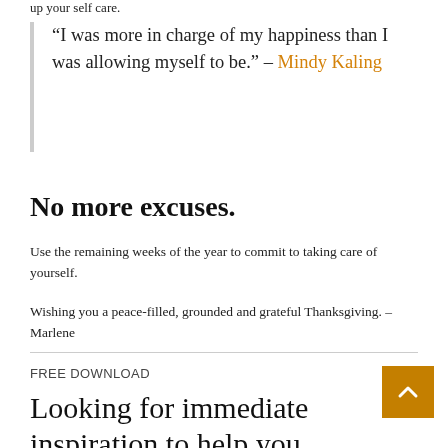up your self care.
“I was more in charge of my happiness than I was allowing myself to be.” – Mindy Kaling
No more excuses.
Use the remaining weeks of the year to commit to taking care of yourself.
Wishing you a peace-filled, grounded and grateful Thanksgiving. – Marlene
FREE DOWNLOAD
Looking for immediate inspiration to help you